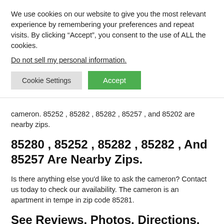We use cookies on our website to give you the most relevant experience by remembering your preferences and repeat visits. By clicking “Accept”, you consent to the use of ALL the cookies.
Do not sell my personal information.
Cookie Settings
Accept
cameron. 85252 , 85282 , 85282 , 85257 , and 85202 are nearby zips.
85280 , 85252 , 85282 , 85282 , And 85257 Are Nearby Zips.
Is there anything else you'd like to ask the cameron? Contact us today to check our availability. The cameron is an apartment in tempe in zip code 85281.
See Reviews, Photos, Directions, Phone